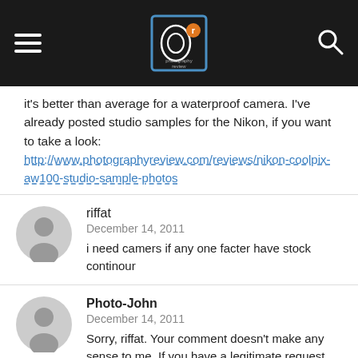Photography Review header with hamburger menu, logo, and search icon
it's better than average for a waterproof camera. I've already posted studio samples for the Nikon, if you want to take a look: http://www.photographyreview.com/reviews/nikon-coolpix-aw100-studio-sample-photos
riffat
December 14, 2011
i need camers if any one facter have stock continour
Photo-John
December 14, 2011
Sorry, riffat. Your comment doesn't make any sense to me. If you have a legitimate request, try to get a better translation and maybe someone here can help you.
MasterDiver